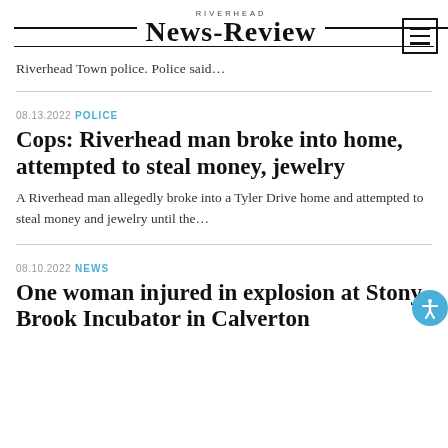RIVERHEAD NEWS-REVIEW
Riverhead Town police. Police said...
08.13.2022 POLICE
Cops: Riverhead man broke into home, attempted to steal money, jewelry
A Riverhead man allegedly broke into a Tyler Drive home and attempted to steal money and jewelry until the...
08.10.2022 NEWS
One woman injured in explosion at Stony Brook Incubator in Calverton